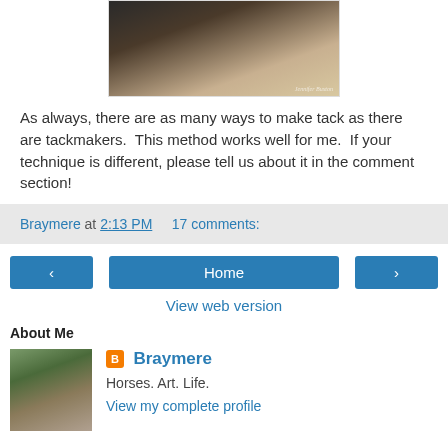[Figure (photo): Close-up photo of a dark horse's muzzle with a bit/bridle, with watermark 'Jennifer Buxton']
As always, there are as many ways to make tack as there are tackmakers.  This method works well for me.  If your technique is different, please tell us about it in the comment section!
Braymere at 2:13 PM    17 comments:
‹    Home    ›
View web version
About Me
[Figure (photo): Photo of a person standing with a brown horse outdoors]
Braymere
Horses. Art. Life.
View my complete profile